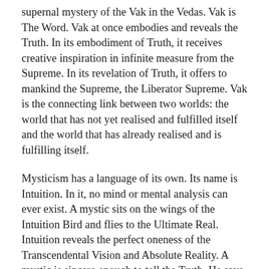supernal mystery of the Vak in the Vedas. Vak is The Word. Vak at once embodies and reveals the Truth. In its embodiment of Truth, it receives creative inspiration in infinite measure from the Supreme. In its revelation of Truth, it offers to mankind the Supreme, the Liberator Supreme. Vak is the connecting link between two worlds: the world that has not yet realised and fulfilled itself and the world that has already realised and is fulfilling itself.
Mysticism has a language of its own. Its name is Intuition. In it, no mind or mental analysis can ever exist. A mystic sits on the wings of the Intuition Bird and flies to the Ultimate Real. Intuition reveals the perfect oneness of the Transcendental Vision and Absolute Reality. A mystic is sincere enough to tell the Truth. He says that it is next to impossible for him to interpret his inner experience. No word or thought can do justice to his experience. At this